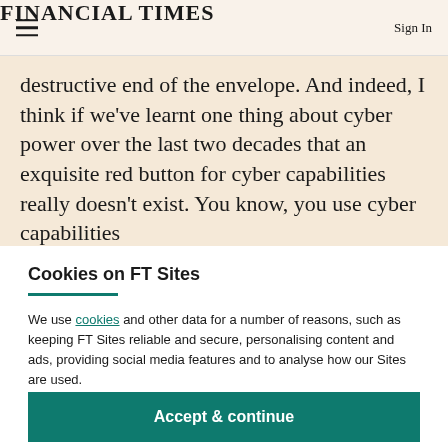FINANCIAL TIMES
destructive end of the envelope. And indeed, I think if we've learnt one thing about cyber power over the last two decades that an exquisite red button for cyber capabilities really doesn't exist. You know, you use cyber capabilities
Cookies on FT Sites
We use cookies and other data for a number of reasons, such as keeping FT Sites reliable and secure, personalising content and ads, providing social media features and to analyse how our Sites are used.
Manage cookies
Accept & continue